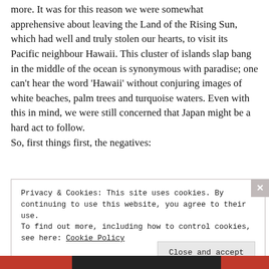more. It was for this reason we were somewhat apprehensive about leaving the Land of the Rising Sun, which had well and truly stolen our hearts, to visit its Pacific neighbour Hawaii. This cluster of islands slap bang in the middle of the ocean is synonymous with paradise; one can't hear the word 'Hawaii' without conjuring images of white beaches, palm trees and turquoise waters. Even with this in mind, we were still concerned that Japan might be a hard act to follow.
So, first things first, the negatives:
Privacy & Cookies: This site uses cookies. By continuing to use this website, you agree to their use.
To find out more, including how to control cookies, see here: Cookie Policy